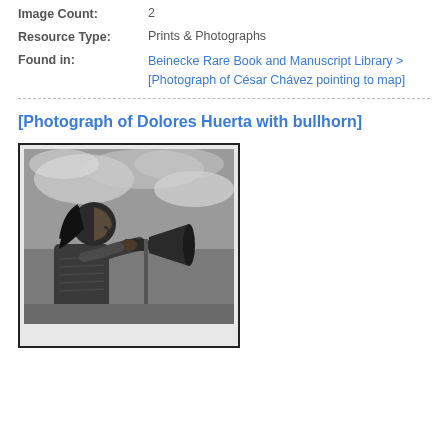Image Count: 2
Resource Type: Prints & Photographs
Found in: Beinecke Rare Book and Manuscript Library > [Photograph of César Chávez pointing to map]
[Photograph of Dolores Huerta with bullhorn]
[Figure (photo): Black and white photograph of Dolores Huerta speaking into a bullhorn, profile view, with cloudy sky in background]